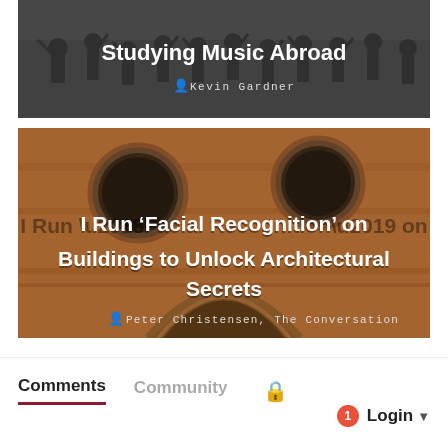[Figure (photo): Black and white photograph of a marching band or orchestra with title overlay 'Studying Music Abroad' and author 'Kevin Gardner']
[Figure (photo): Color photograph of an ornate terracotta building facade with circular windows and arched entrance, with title overlay 'I Run ‘Facial Recognition’ on Buildings to Unlock Architectural Secrets' and author 'Peter Christensen, The Conversation']
Comments
Community
Login